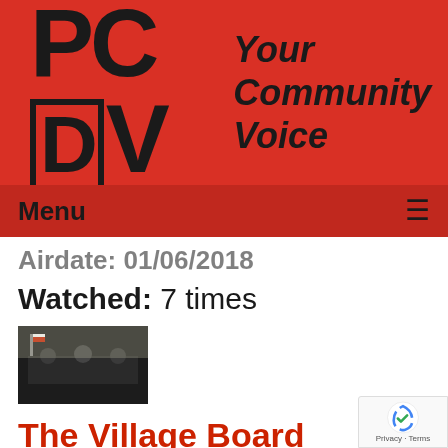[Figure (logo): PCTV logo with 'Your Community Voice' tagline on red background]
Menu ☰
Airdate: 01/06/2018
Watched: 7 times
[Figure (photo): Thumbnail of village board meeting video showing people seated at a table]
The Village Board Meeting of 12-11-17
Airdate: 12/11/2017